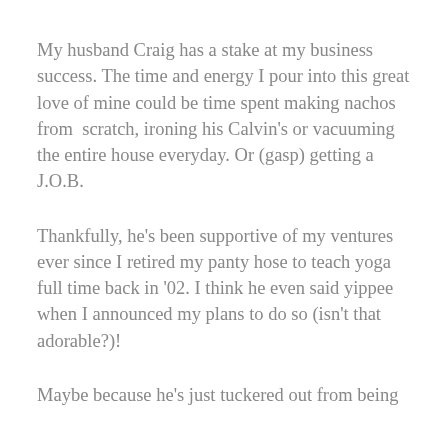My husband Craig has a stake at my business success. The time and energy I pour into this great love of mine could be time spent making nachos from  scratch, ironing his Calvin's or vacuuming the entire house everyday. Or (gasp) getting a J.O.B.
Thankfully, he's been supportive of my ventures ever since I retired my panty hose to teach yoga full time back in '02. I think he even said yippee when I announced my plans to do so (isn't that adorable?)!
Maybe because he's just tuckered out from being